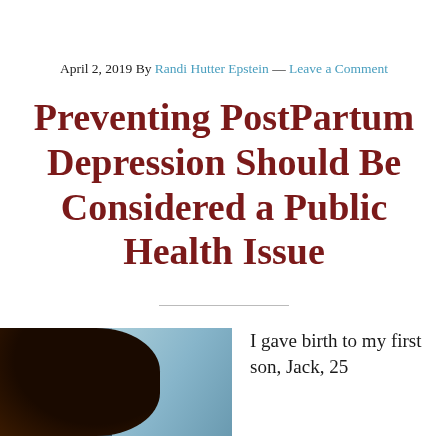April 2, 2019 By Randi Hutter Epstein — Leave a Comment
Preventing PostPartum Depression Should Be Considered a Public Health Issue
[Figure (photo): A photo of a person with dark hair against a light blue background]
I gave birth to my first son, Jack, 25